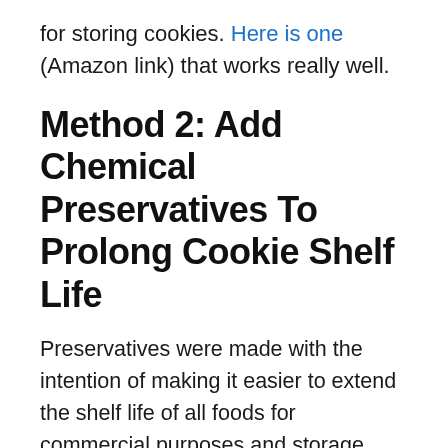for storing cookies. Here is one (Amazon link) that works really well.
Method 2: Add Chemical Preservatives To Prolong Cookie Shelf Life
Preservatives were made with the intention of making it easier to extend the shelf life of all foods for commercial purposes and storage purposes alike. You don't have to be a pro baker to use them these days, either.